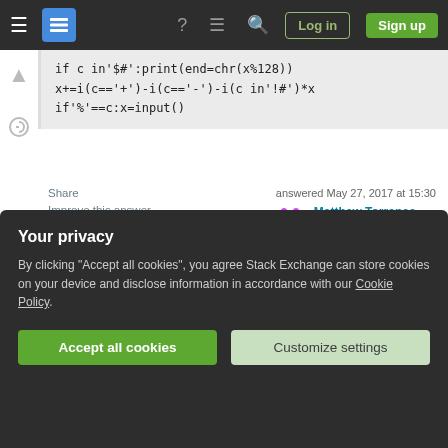Stack Exchange navigation bar with hamburger menu, logo, help, chat, search, Log in, Sign up
if c in'$#':print(end=chr(x%128))
x+=i(c=='+')-i(c=='-')-i(c in'!#')*x
if'%'==c:x=input()
Share   Improve this answer   Follow
answered May 27, 2017 at 15:30
Matthew Torrence
11 ●1
Welcome to PPCG, amazing first golf! – Adalynn Aug 10, 2017 at 22:07
If you reach the end and the accumulator isn't 0, you
Your privacy
By clicking "Accept all cookies", you agree Stack Exchange can store cookies on your device and disclose information in accordance with our Cookie Policy.
Accept all cookies   Customize settings
1